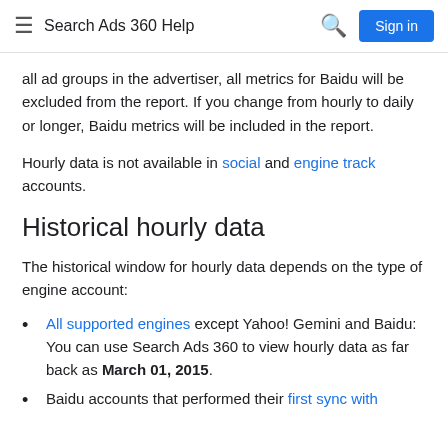Search Ads 360 Help
all ad groups in the advertiser, all metrics for Baidu will be excluded from the report. If you change from hourly to daily or longer, Baidu metrics will be included in the report.
Hourly data is not available in social and engine track accounts.
Historical hourly data
The historical window for hourly data depends on the type of engine account:
All supported engines except Yahoo! Gemini and Baidu: You can use Search Ads 360 to view hourly data as far back as March 01, 2015.
Baidu accounts that performed their first sync with Search Ads 360 before December 13, 2017...